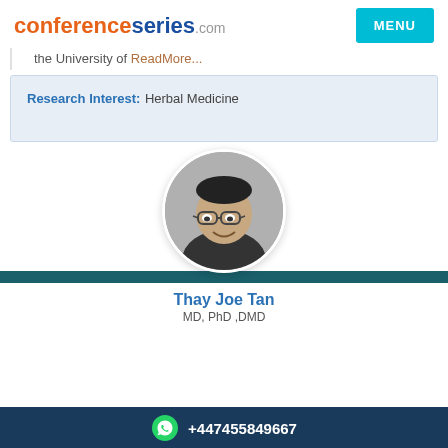conferenceseries.com
the University of ReadMore...
Research Interest: Herbal Medicine
[Figure (photo): Circular black and white portrait photo of Thay Joe Tan, a man wearing glasses and a suit with tie, smiling]
Thay Joe Tan
MD, PhD ,DMD
+447455849667